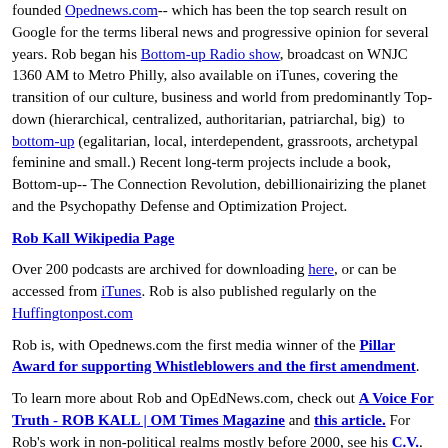founded Opednews.com-- which has been the top search result on Google for the terms liberal news and progressive opinion for several years. Rob began his Bottom-up Radio show, broadcast on WNJC 1360 AM to Metro Philly, also available on iTunes, covering the transition of our culture, business and world from predominantly Top-down (hierarchical, centralized, authoritarian, patriarchal, big) to bottom-up (egalitarian, local, interdependent, grassroots, archetypal feminine and small.) Recent long-term projects include a book, Bottom-up-- The Connection Revolution, debillionairizing the planet and the Psychopathy Defense and Optimization Project.
Rob Kall Wikipedia Page
Over 200 podcasts are archived for downloading here, or can be accessed from iTunes. Rob is also published regularly on the Huffingtonpost.com
Rob is, with Opednews.com the first media winner of the Pillar Award for supporting Whistleblowers and the first amendment.
To learn more about Rob and OpEdNews.com, check out A Voice For Truth - ROB KALL | OM Times Magazine and this article. For Rob's work in non-political realms mostly before 2000, see his C.V.. and here's an article on the Storycon Summit Meeting he founded and organized for eight years. Press coverage in the Wall Street Journal: Party's